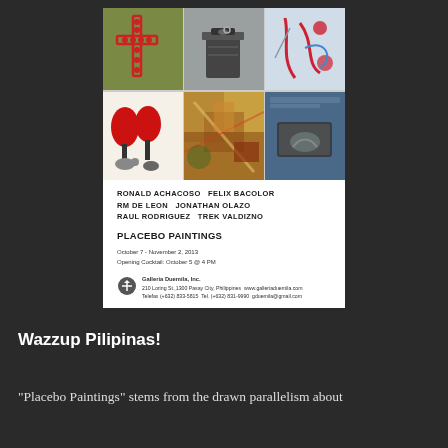[Figure (illustration): Art exhibition poster for 'Placebo Paintings' at Galleria Duemila, Inc. Features a 2x3 grid of artwork thumbnails: top row shows a green textured painting with a cross made of beads, a dark trash can photograph, and an abstract painting with red forms on blue/white. Bottom row shows an illustration of red tree-like figures over animals, an abstract colorful painting, and a dark blue photographic image of a box. Text below reads: RONALD ACHACOSO  FELIX BACOLOR  RM DE LEON  JONATHAN OLAZO  RAUL RODRIGUEZ  TREK VALDIZNO. PLACEBO PAINTINGS. October 7 - November 2, 2013. Opening Cocktail: October 5 @ 4 PM. Galleria Duemila, Inc. 210 Loring St., 1300 Pasay City, Philippines www.galleriaduemila.com Telefax (+632) 833-5815 Tel. (+632) 831-9990 gduemila@gmail.com]
Wazzup Pilipinas!
"Placebo Paintings" stems from the drawn parallelism about